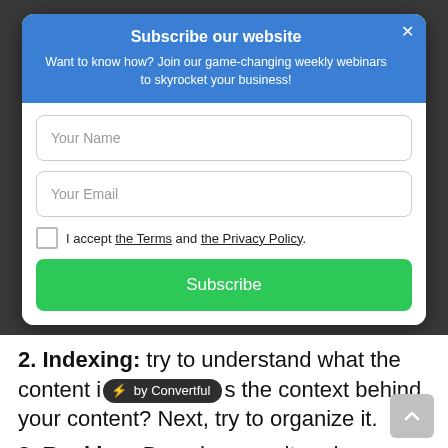Subscribe our website
Want to know how? Join our game-changing weekly webinars to skyrocket your business!
Your Name
Your Email
I accept the Terms and the Privacy Policy.
Subscribe
2. Indexing: try to understand what the content is the context behind your content? Next, try to organize it.
3. Ranking: Based on result and relevancy and other 200 signals it's going to